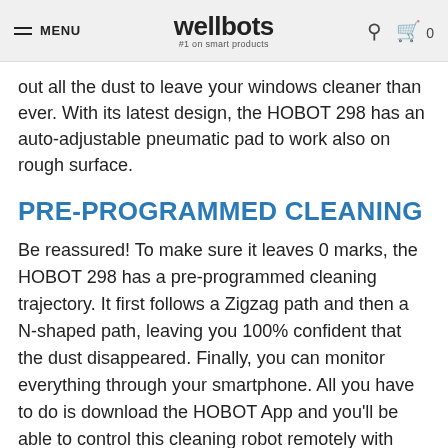MENU | wellbots #1 on smart products
out all the dust to leave your windows cleaner than ever. With its latest design, the HOBOT 298 has an auto-adjustable pneumatic pad to work also on rough surface.
PRE-PROGRAMMED CLEANING
Be reassured! To make sure it leaves 0 marks, the HOBOT 298 has a pre-programmed cleaning trajectory. It first follows a Zigzag path and then a N-shaped path, leaving you 100% confident that the dust disappeared. Finally, you can monitor everything through your smartphone. All you have to do is download the HOBOT App and you'll be able to control this cleaning robot remotely with your device. The HOBOT App is compatible with both iOS and Android devices.